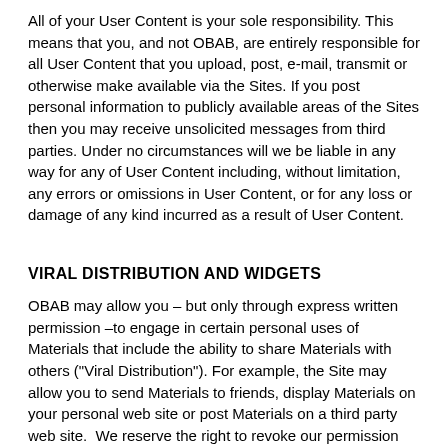All of your User Content is your sole responsibility. This means that you, and not OBAB, are entirely responsible for all User Content that you upload, post, e-mail, transmit or otherwise make available via the Sites. If you post personal information to publicly available areas of the Sites then you may receive unsolicited messages from third parties. Under no circumstances will we be liable in any way for any of User Content including, without limitation, any errors or omissions in User Content, or for any loss or damage of any kind incurred as a result of User Content.
VIRAL DISTRIBUTION AND WIDGETS
OBAB may allow you – but only through express written permission –to engage in certain personal uses of Materials that include the ability to share Materials with others ("Viral Distribution"). For example, the Site may allow you to send Materials to friends, display Materials on your personal web site or post Materials on a third party web site.  We reserve the right to revoke our permission for Viral Distribution at any time and for any reason and you agree to comply with any terms we post in connection the Viral Distribution of Materials.